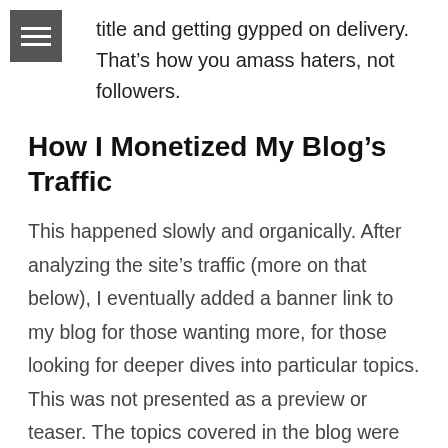title and getting gypped on delivery. That's how you amass haters, not followers.
How I Monetized My Blog's Traffic
This happened slowly and organically. After analyzing the site's traffic (more on that below), I eventually added a banner link to my blog for those wanting more, for those looking for deeper dives into particular topics. This was not presented as a preview or teaser. The topics covered in the blog were full of value not affected or diminished by any advertising. A paid Udemy class was a natural